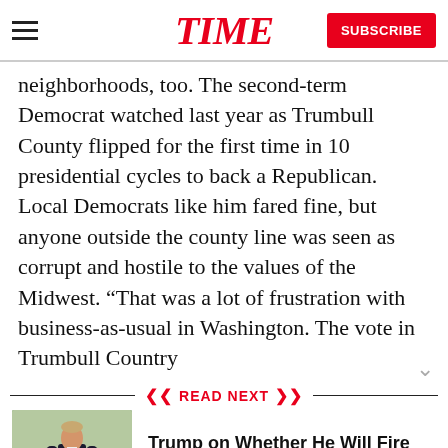TIME | SUBSCRIBE
neighborhoods, too. The second-term Democrat watched last year as Trumbull County flipped for the first time in 10 presidential cycles to back a Republican. Local Democrats like him fared fine, but anyone outside the county line was seen as corrupt and hostile to the values of the Midwest. “That was a lot of frustration with business-as-usual in Washington. The vote in Trumbull Country
READ NEXT
[Figure (photo): Photo of Donald Trump walking outdoors in a suit with red tie, on a grass lawn]
Trump on Whether He Will Fire Sessions: 'Time Will Tell'